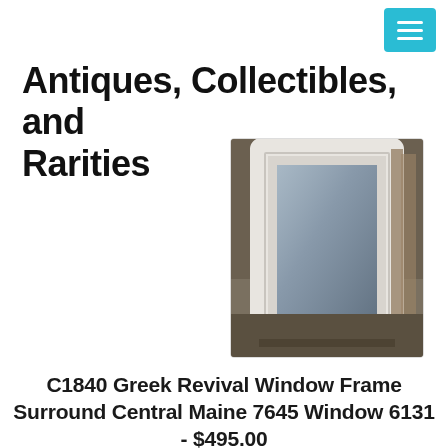Antiques, Collectibles, and Rarities
Antiques, Collectibles, and Rarities
[Figure (photo): Photo of a white-painted antique wooden window frame surround leaning against a wall, showing the frame profile and interior mirror/glass reflection]
C1840 Greek Revival Window Frame Surround Central Maine 7645 Window 6131 - $495.00
C1840 Greek Revival Window Frame Surround Central Maine 7645 Window 6131